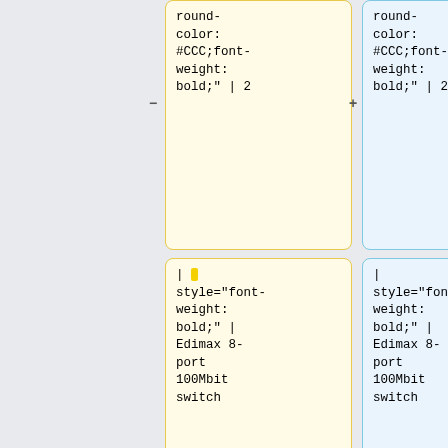round-color: #CCC;font-weight: bold;" | 2
round-color: #CCC;font-weight: bold;" | 2
| style="font-weight: bold;" | Edimax 8-port 100Mbit switch
| style="font-weight: bold;" | Edimax 8-port 100Mbit switch
| ES-1008P
| ES-1008P
| 48V 802.3af/at
| 48V 802.3af/at
| (1,2+) (3,6-)
| (1,2+) (3,6-)